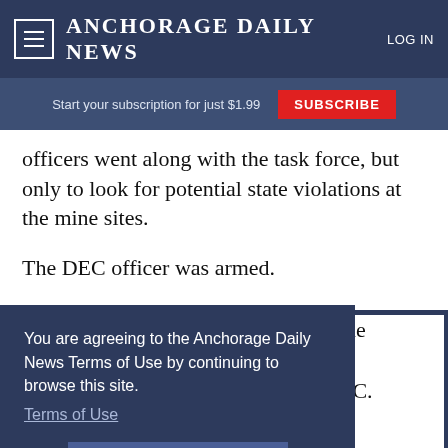ANCHORAGE DAILY NEWS
Start your subscription for just $1.99
officers went along with the task force, but only to look for potential state violations at the mine sites.
The DEC officer was armed.
The task force is made up of members of the EPA, the FBI, Coast Guard, Department of Defense, the [DEC].
You are agreeing to the Anchorage Daily News Terms of Use by continuing to browse this site.
Terms of Use
I Accept